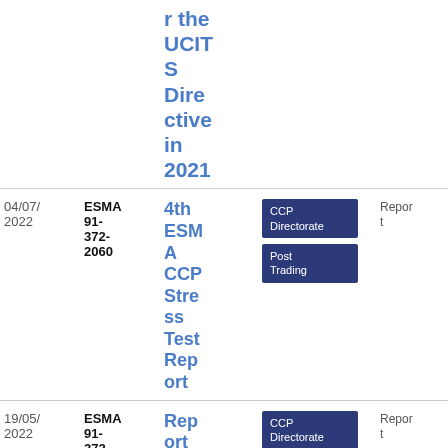| Date | Reference | Title | Tags | Type | Download |
| --- | --- | --- | --- | --- | --- |
|  |  | r the UCITS Directive in 2021 | CCP Directorate, Post Trading | Report | PDF 4 MB |
| 04/07/2022 | ESMA 91-372-2060 | 4th ESMA CCP Stress Test Report | CCP Directorate, Post Trading | Report | PDF 4 MB |
| 19/05/2022 | ESMA 91-372-... | Report_CCP | CCP Directorate | Report | PDF 1. |